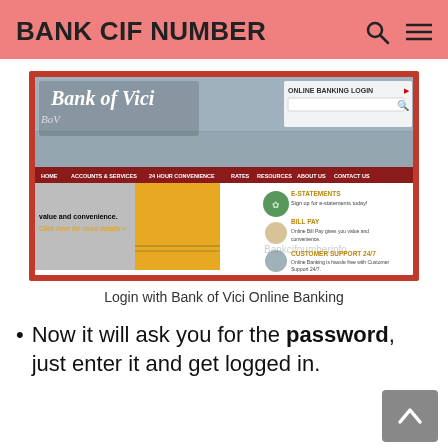BANK CIF NUMBER
[Figure (screenshot): Screenshot of Bank of Vici website showing online banking login, navigation menu (HOME, ACCOUNTS & SERVICES, 24 HOUR CONVENIENCE, RATES, RESOURCES, ABOUT US, CONTACT US), and sections for E-STATEMENTS, BILL PAY, CUSTOMER SUPPORT 24/7, with watermark text 'Bankcifnumberinfo']
Login with Bank of Vici Online Banking
Now it will ask you for the password, just enter it and get logged in.